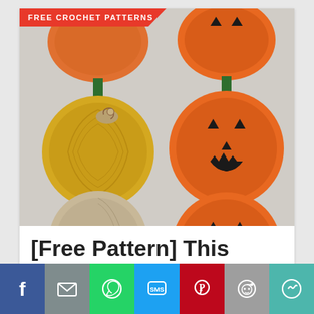[Figure (photo): Photo of crocheted pumpkin garland with orange jack-o-lantern faces, yellow and beige round pumpkins, with green stems, on a white background. Red banner overlay reads FREE CROCHET PATTERNS.]
[Free Pattern] This Falling Pumpkin
[Figure (infographic): Social media share bar with buttons: Facebook (blue), Mail (gray), WhatsApp (green), SMS (light blue), Pinterest (red), Reddit (gray), More (teal)]